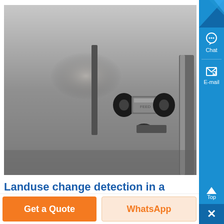[Figure (photo): Close-up grayscale photo of industrial bolts/fasteners mounted on a metal surface, likely mining equipment component]
Landuse change detection in a surface coal mine area using - Know More
Get a Quote
WhatsApp